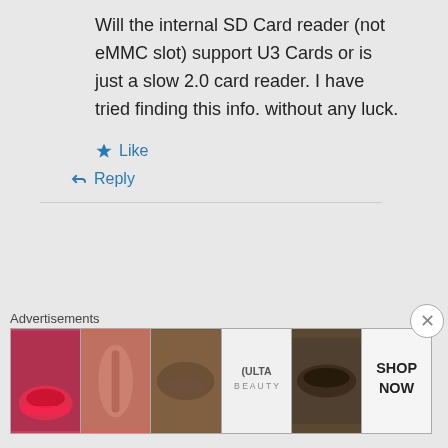Will the internal SD Card reader (not eMMC slot) support U3 Cards or is just a slow 2.0 card reader. I have tried finding this info. without any luck.
★ Like
↳ Reply
Advertisements
[Figure (infographic): Advertisement banner showing beauty/makeup product images including lips with lipstick, makeup brush, eye with mascara, ULTA Beauty logo, dramatic eye makeup, and SHOP NOW text panel]